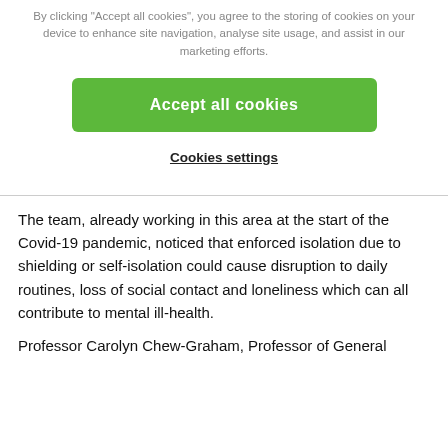By clicking "Accept all cookies", you agree to the storing of cookies on your device to enhance site navigation, analyse site usage, and assist in our marketing efforts.
[Figure (other): Green 'Accept all cookies' button]
Cookies settings
The team, already working in this area at the start of the Covid-19 pandemic, noticed that enforced isolation due to shielding or self-isolation could cause disruption to daily routines, loss of social contact and loneliness which can all contribute to mental ill-health.
Professor Carolyn Chew-Graham, Professor of General